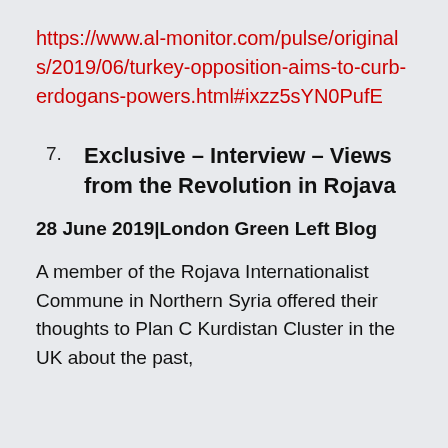https://www.al-monitor.com/pulse/originals/2019/06/turkey-opposition-aims-to-curb-erdogans-powers.html#ixzz5sYN0PufE
7. Exclusive – Interview – Views from the Revolution in Rojava
28 June 2019|London Green Left Blog
A member of the Rojava Internationalist Commune in Northern Syria offered their thoughts to Plan C Kurdistan Cluster in the UK about the past,